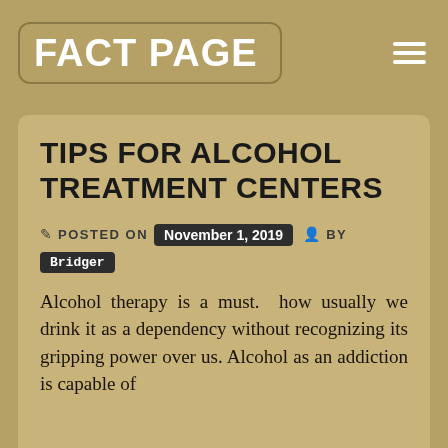FACT PAGE
TIPS FOR ALCOHOL TREATMENT CENTERS
POSTED ON November 1, 2019 BY Bridger
Alcohol therapy is a must.  how usually we drink it as a dependency without recognizing its gripping power over us. Alcohol as an addiction is capable of